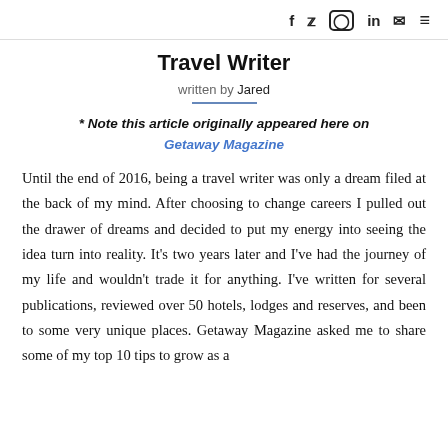f  𝕏  ⊙  in  ✉  ≡
Travel Writer
written by Jared
* Note this article originally appeared here on Getaway Magazine
Until the end of 2016, being a travel writer was only a dream filed at the back of my mind. After choosing to change careers I pulled out the drawer of dreams and decided to put my energy into seeing the idea turn into reality. It's two years later and I've had the journey of my life and wouldn't trade it for anything. I've written for several publications, reviewed over 50 hotels, lodges and reserves, and been to some very unique places. Getaway Magazine asked me to share some of my top 10 tips to grow as a